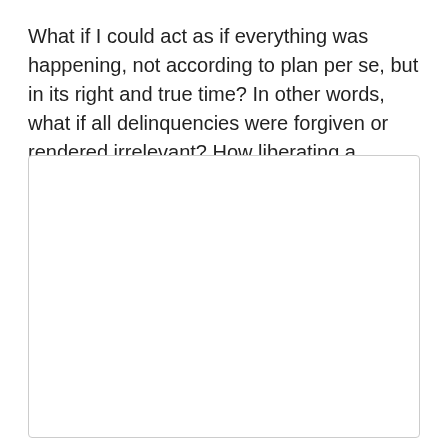What if I could act as if everything was happening, not according to plan per se, but in its right and true time? In other words, what if all delinquencies were forgiven or rendered irrelevant? How liberating a thought!
[Figure (other): Empty white rectangle with a light gray border, representing a blank note or writing area.]